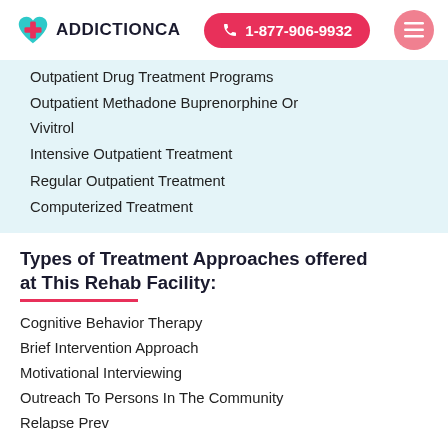[Figure (logo): AddictionCA logo with teal heart and pink cross icon, text ADDICTIONCA]
☎ 1-877-906-9932
Outpatient Drug Treatment Programs
Outpatient Methadone Buprenorphine Or Vivitrol
Intensive Outpatient Treatment
Regular Outpatient Treatment
Computerized Treatment
Types of Treatment Approaches offered at This Rehab Facility:
Cognitive Behavior Therapy
Brief Intervention Approach
Motivational Interviewing
Outreach To Persons In The Community
Relapse Prevention